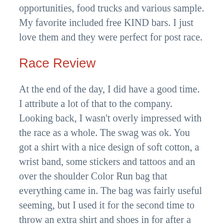opportunities, food trucks and various sample. My favorite included free KIND bars. I just love them and they were perfect for post race.
Race Review
At the end of the day, I did have a good time. I attribute a lot of that to the company. Looking back, I wasn't overly impressed with the race as a whole. The swag was ok. You got a shirt with a nice design of soft cotton, a wrist band, some stickers and tattoos and an over the shoulder Color Run bag that everything came in. The bag was fairly useful seeming, but I used it for the second time to throw an extra shirt and shoes in for after a recent race and it ripped, so short lived. The lack of any corral instead with one